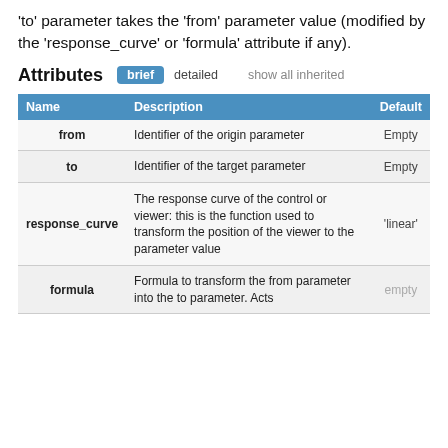'to' parameter takes the 'from' parameter value (modified by the 'response_curve' or 'formula' attribute if any).
Attributes  brief  detailed  show all inherited
| Name | Description | Default |
| --- | --- | --- |
| from | Identifier of the origin parameter | Empty |
| to | Identifier of the target parameter | Empty |
| response_curve | The response curve of the control or viewer: this is the function used to transform the position of the viewer to the parameter value | 'linear' |
| formula | Formula to transform the from parameter into the to parameter. Acts | empty |